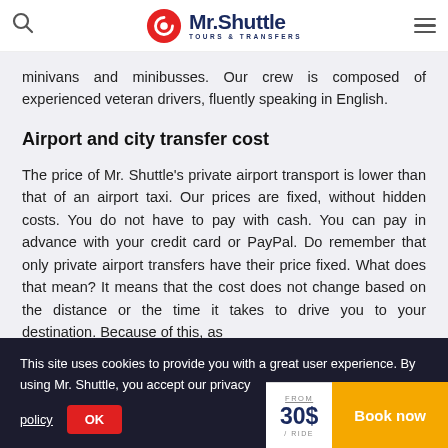Mr. Shuttle — Tours & Transfers
minivans and minibusses. Our crew is composed of experienced veteran drivers, fluently speaking in English.
Airport and city transfer cost
The price of Mr. Shuttle's private airport transport is lower than that of an airport taxi. Our prices are fixed, without hidden costs. You do not have to pay with cash. You can pay in advance with your credit card or PayPal. Do remember that only private airport transfers have their price fixed. What does that mean? It means that the cost does not change based on the distance or the time it takes to drive you to your destination. Because of this, as
This site uses cookies to provide you with a great user experience. By using Mr. Shuttle, you accept our privacy policy
FROM 30$ / RIDE  Book now